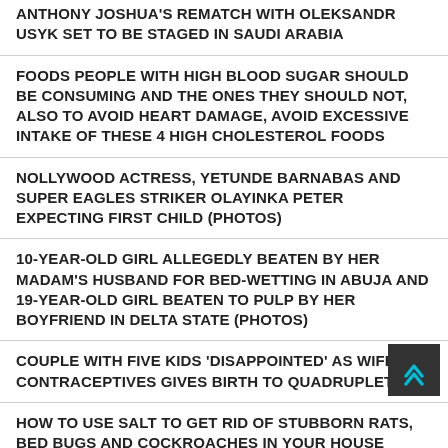ANTHONY JOSHUA'S REMATCH WITH OLEKSANDR USYK SET TO BE STAGED IN SAUDI ARABIA
FOODS PEOPLE WITH HIGH BLOOD SUGAR SHOULD BE CONSUMING AND THE ONES THEY SHOULD NOT, ALSO TO AVOID HEART DAMAGE, AVOID EXCESSIVE INTAKE OF THESE 4 HIGH CHOLESTEROL FOODS
NOLLYWOOD ACTRESS, YETUNDE BARNABAS AND SUPER EAGLES STRIKER OLAYINKA PETER EXPECTING FIRST CHILD (PHOTOS)
10-YEAR-OLD GIRL ALLEGEDLY BEATEN BY HER MADAM'S HUSBAND FOR BED-WETTING IN ABUJA AND 19-YEAR-OLD GIRL BEATEN TO PULP BY HER BOYFRIEND IN DELTA STATE (PHOTOS)
COUPLE WITH FIVE KIDS 'DISAPPOINTED' AS WIFE ON CONTRACEPTIVES GIVES BIRTH TO QUADRUPLETS
HOW TO USE SALT TO GET RID OF STUBBORN RATS, BED BUGS AND COCKROACHES IN YOUR HOUSE
MUM BECAME PREGNANT WHILE ALREADY PREGNANT AND